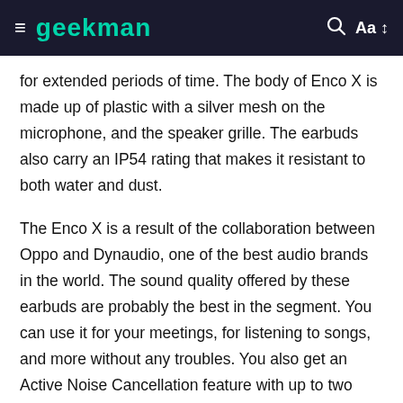geekman
for extended periods of time. The body of Enco X is made up of plastic with a silver mesh on the microphone, and the speaker grille. The earbuds also carry an IP54 rating that makes it resistant to both water and dust.
The Enco X is a result of the collaboration between Oppo and Dynaudio, one of the best audio brands in the world. The sound quality offered by these earbuds are probably the best in the segment. You can use it for your meetings, for listening to songs, and more without any troubles. You also get an Active Noise Cancellation feature with up to two levels of ANC. Although it does block a majority of environmental noises, it still lets in some background disturbances. The microphone on